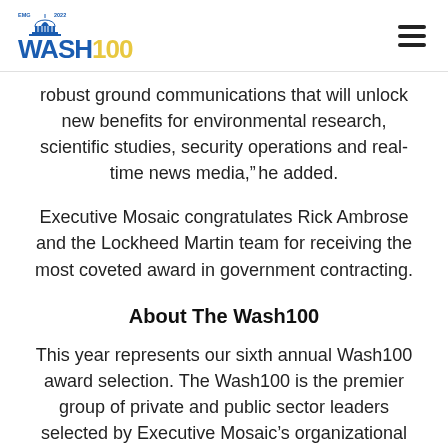EMG 2022 WASH100
robust ground communications that will unlock new benefits for environmental research, scientific studies, security operations and real-time news media,” he added.
Executive Mosaic congratulates Rick Ambrose and the Lockheed Martin team for receiving the most coveted award in government contracting.
About The Wash100
This year represents our sixth annual Wash100 award selection. The Wash100 is the premier group of private and public sector leaders selected by Executive Mosaic’s organizational and editorial leadership as the most influential leaders in the GovCon sector. These leaders demonstrate skills in leadership, innovation, achievement, and vision.